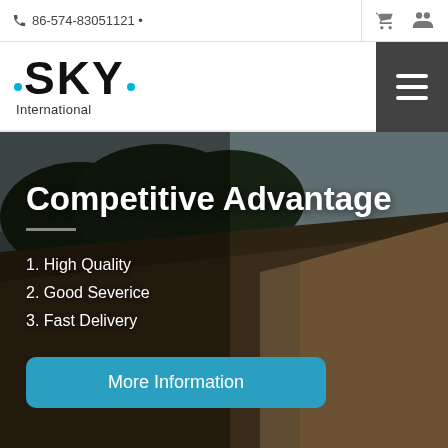☎ 86-574-83051121 •
[Figure (logo): SKY International logo with cyan dots and bold text]
Competitive Advantage
1. High Quality
2. Good Severice
3. Fast Delivery
More Information